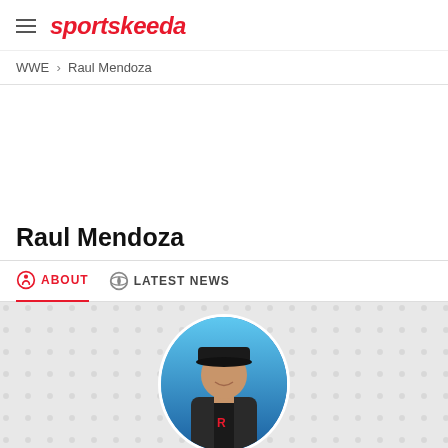sportskeeda
WWE > Raul Mendoza
Raul Mendoza
ABOUT   LATEST NEWS
[Figure (photo): Circular profile photo of Raul Mendoza, a wrestler wearing a black cap and vest, standing in front of a blue background]